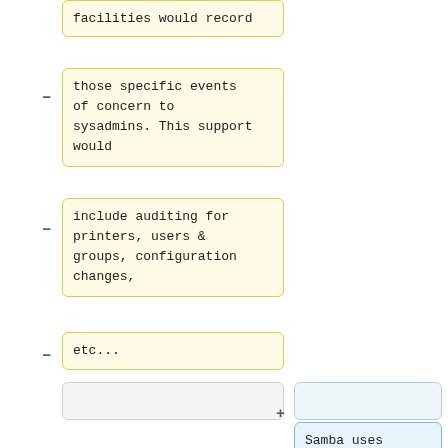facilities would record
those specific events of concern to sysadmins. This support would
include auditing for printers, users & groups, configuration changes,
etc...
Samba uses GitLab CI to improve the quality of our patches.  Efforts are currently underway to extend the docker container used from just Ubuntu 14.04 to